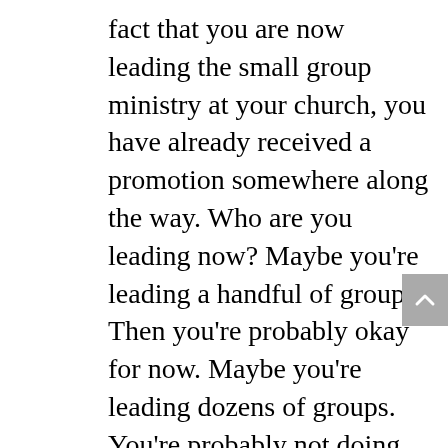fact that you are now leading the small group ministry at your church, you have already received a promotion somewhere along the way. Who are you leading now? Maybe you're leading a handful of groups. Then you're probably okay for now. Maybe you're leading dozens of groups. You're probably not doing as well as you did when it was only a handful. You need help. Maybe you're leading hundreds of groups. If that's the case, then you are completely overwhelmed. You are either barely keeping your head above water, or you've convinced yourself that an email newsletter, occasional meetings, and a reporting system are adequate to sustain a large small group ministry. Don't kid yourself.